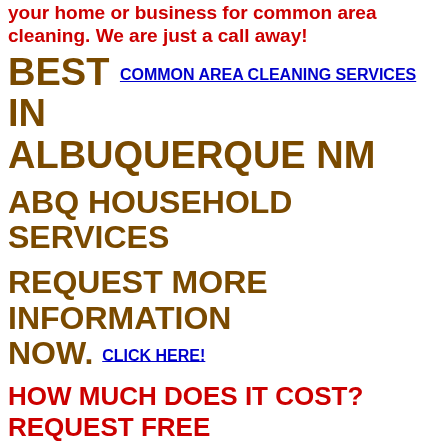your home or business for common area cleaning. We are just a call away!
BEST COMMON AREA CLEANING SERVICES IN ALBUQUERQUE NM
ABQ HOUSEHOLD SERVICES
REQUEST MORE INFORMATION NOW. CLICK HERE!
HOW MUCH DOES IT COST? REQUEST FREE ESTIMATES. SEND USA MESSAGE NOW!